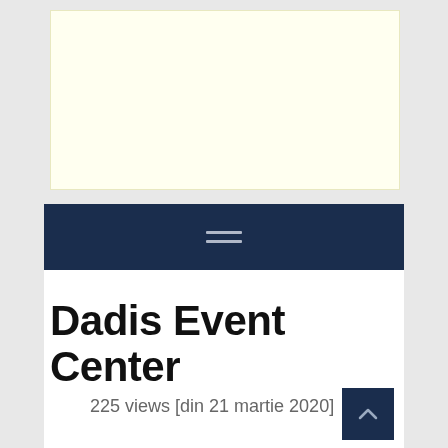[Figure (other): Light yellow advertisement banner area]
≡ (hamburger menu navigation bar, dark navy background)
Dadis Event Center
225 views [din 21 martie 2020]